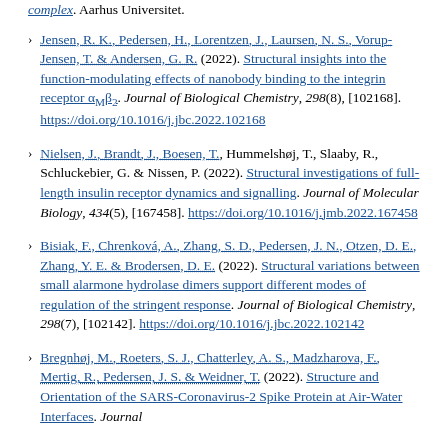complex. Aarhus Universitet.
Jensen, R. K., Pedersen, H., Lorentzen, J., Laursen, N. S., Vorup-Jensen, T. & Andersen, G. R. (2022). Structural insights into the function-modulating effects of nanobody binding to the integrin receptor αMβ2. Journal of Biological Chemistry, 298(8), [102168]. https://doi.org/10.1016/j.jbc.2022.102168
Nielsen, J., Brandt, J., Boesen, T., Hummelshøj, T., Slaaby, R., Schluckebier, G. & Nissen, P. (2022). Structural investigations of full-length insulin receptor dynamics and signalling. Journal of Molecular Biology, 434(5), [167458]. https://doi.org/10.1016/j.jmb.2022.167458
Bisiak, F., Chrenková, A., Zhang, S. D., Pedersen, J. N., Otzen, D. E., Zhang, Y. E. & Brodersen, D. E. (2022). Structural variations between small alarmone hydrolase dimers support different modes of regulation of the stringent response. Journal of Biological Chemistry, 298(7), [102142]. https://doi.org/10.1016/j.jbc.2022.102142
Bregnhøj, M., Roeters, S. J., Chatterley, A. S., Madzharova, F., Mertig, R., Pedersen, J. S. & Weidner, T. (2022). Structure and Orientation of the SARS-Coronavirus-2 Spike Protein at Air-Water Interfaces. Journal